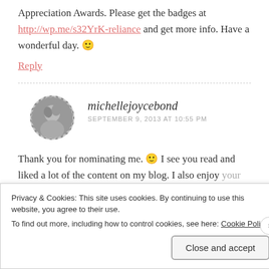Appreciation Awards. Please get the badges at http://wp.me/s32YrK-reliance and get more info. Have a wonderful day. 🙂
Reply
michellejoycebond
SEPTEMBER 9, 2013 AT 10:55 PM
Thank you for nominating me. 🙂 I see you read and liked a lot of the content on my blog. I also enjoy your earthy (love the tree metaphor), humorous...
Privacy & Cookies: This site uses cookies. By continuing to use this website, you agree to their use.
To find out more, including how to control cookies, see here: Cookie Policy
Close and accept